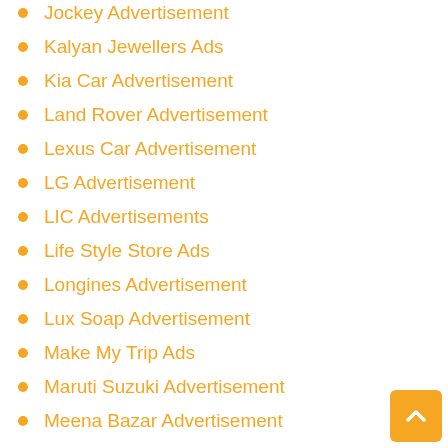Jockey Advertisement
Kalyan Jewellers Ads
Kia Car Advertisement
Land Rover Advertisement
Lexus Car Advertisement
LG Advertisement
LIC Advertisements
Life Style Store Ads
Longines Advertisement
Lux Soap Advertisement
Make My Trip Ads
Maruti Suzuki Advertisement
Meena Bazar Advertisement
Mercedes Benz Ads
Mitsubishi Advertisement